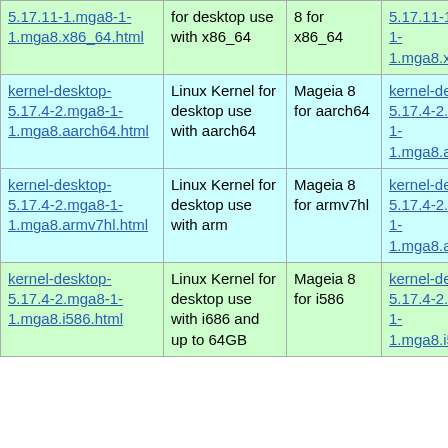| 5.17.11-1.mga8-1-1.mga8.x86_64.html | for desktop use with x86_64 | 8 for x86_64 | 5.17.11-1.mga8-1-1.mga8.x86_64.rpm |
| kernel-desktop-5.17.4-2.mga8-1-1.mga8.aarch64.html | Linux Kernel for desktop use with aarch64 | Mageia 8 for aarch64 | kernel-desktop-5.17.4-2.mga8-1-1.mga8.aarch64.rpm |
| kernel-desktop-5.17.4-2.mga8-1-1.mga8.armv7hl.html | Linux Kernel for desktop use with arm | Mageia 8 for armv7hl | kernel-desktop-5.17.4-2.mga8-1-1.mga8.armv7hl.rpm |
| kernel-desktop-5.17.4-2.mga8-1-1.mga8.i586.html | Linux Kernel for desktop use with i686 and up to 64GB | Mageia 8 for i586 | kernel-desktop-5.17.4-2.mga8-1-1.mga8.i586.rpm |